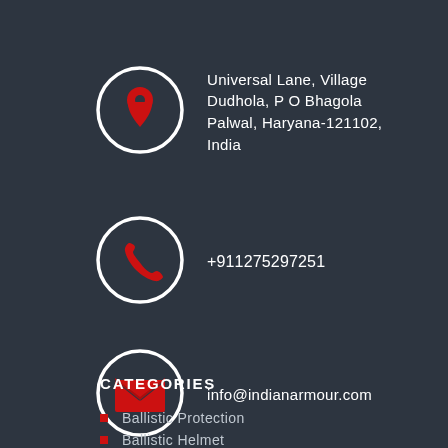[Figure (infographic): Location pin icon inside white circle on dark background]
Universal Lane, Village Dudhola, P O Bhagola Palwal, Haryana-121102, India
[Figure (infographic): Phone handset icon inside white circle on dark background]
+911275297251
[Figure (infographic): Envelope/email icon inside white circle on dark background]
info@indianarmour.com
CATEGORIES
Ballistic Protection
Ballistic Helmet